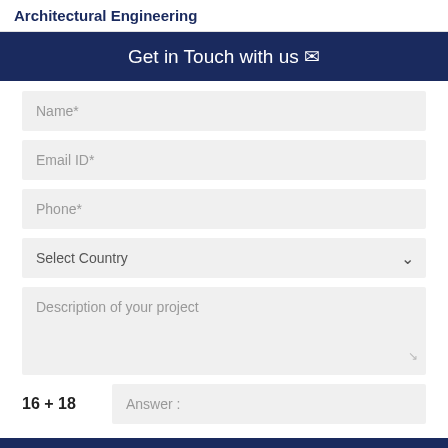Architectural Engineering
Get in Touch with us ✉
Name*
Email ID*
Phone*
Select Country
Description of your project
Answer :
SUBMIT